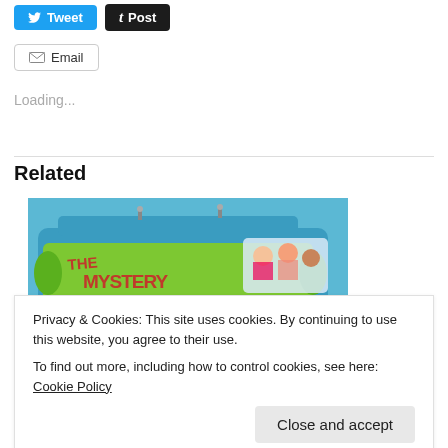[Figure (other): Tweet button (blue) and Post button (dark)]
[Figure (other): Email button with envelope icon]
Loading...
Related
[Figure (illustration): The Mystery Machine van from Scooby-Doo, with green and blue body and cartoon characters inside]
Privacy & Cookies: This site uses cookies. By continuing to use this website, you agree to their use.
To find out more, including how to control cookies, see here: Cookie Policy
[Figure (other): Close and accept button]